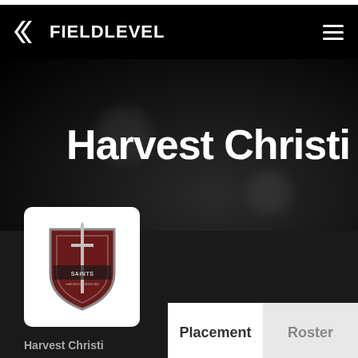FIELDLEVEL
Harvest Christi
Watauga,
[Figure (logo): Harvest Christian Academy Knights shield logo with sword, dark red and silver colors, on white rounded card background]
Placement
Roster
Harvest Christi